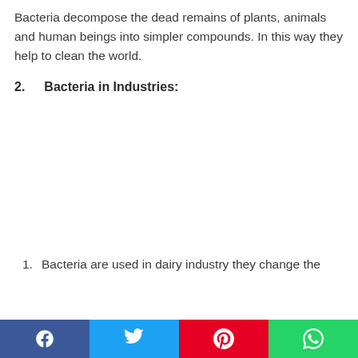Bacteria decompose the dead remains of plants, animals and human beings into simpler compounds. In this way they help to clean the world.
2.      Bacteria in Industries:
1.  Bacteria are used in dairy industry they change the